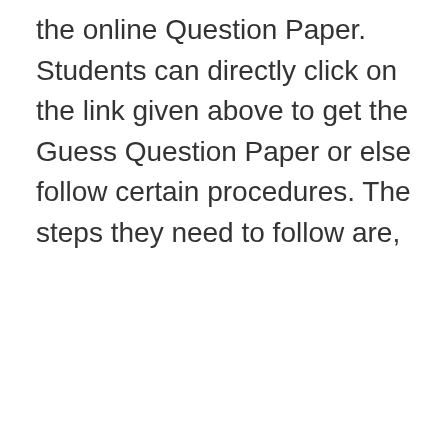the online Question Paper. Students can directly click on the link given above to get the Guess Question Paper or else follow certain procedures. The steps they need to follow are,